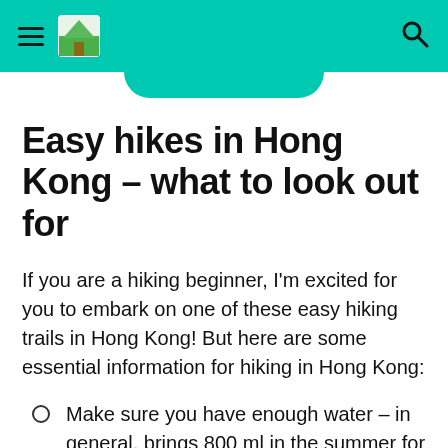Navigation header with hamburger menu, logo, and search icon
Easy hikes in Hong Kong – what to look out for
If you are a hiking beginner, I'm excited for you to embark on one of these easy hiking trails in Hong Kong! But here are some essential information for hiking in Hong Kong:
Make sure you have enough water – in general, brings 800 ml in the summer for short hikes. If it's 3 hours, bring 1 L.
Octopus card – make sure you have at